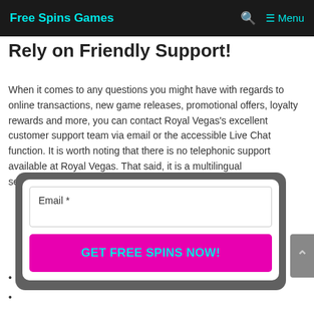Free Spins Games   🔍   ☰ Menu
Rely on Friendly Support!
When it comes to any questions you might have with regards to online transactions, new game releases, promotional offers, loyalty rewards and more, you can contact Royal Vegas's excellent customer support team via email or the accessible Live Chat function. It is worth noting that there is no telephonic support available at Royal Vegas. That said, it is a multilingual servi…
[Figure (screenshot): A modal popup with an email input field labeled 'Email *' and a magenta button labeled 'GET FREE SPINS NOW!' in cyan text.]